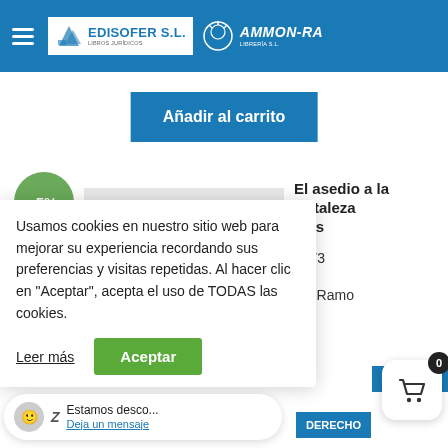EDISOFER S.L. / AMMON-RA LIBRERÍA S.L.
Añadir al carrito
[Figure (other): Product thumbnail showing a book cover with red bar and text]
-5%
El asedio a la fortaleza...
9973
nio Ramo
Usamos cookies en nuestro sitio web para mejorar su experiencia recordando sus preferencias y visitas repetidas. Al hacer clic en "Aceptar", acepta el uso de TODAS las cookies.
Leer más
Aceptar
OTECA DE
DERECHO
Estamos deseo...
Deja un mensaje
0